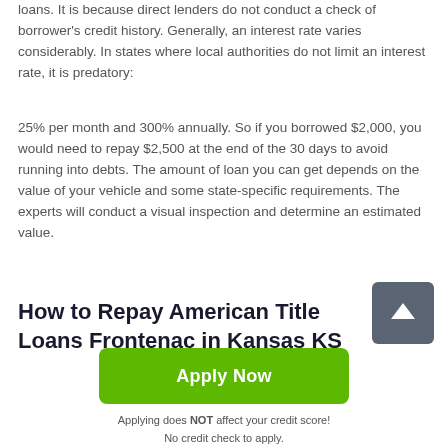loans. It is because direct lenders do not conduct a check of borrower's credit history. Generally, an interest rate varies considerably. In states where local authorities do not limit an interest rate, it is predatory:
25% per month and 300% annually. So if you borrowed $2,000, you would need to repay $2,500 at the end of the 30 days to avoid running into debts. The amount of loan you can get depends on the value of your vehicle and some state-specific requirements. The experts will conduct a visual inspection and determine an estimated value.
How to Repay American Title Loans Frontenac in Kansas KS
[Figure (other): Scroll-to-top button with upward arrow icon, gray rounded square]
[Figure (other): Green Apply Now button]
Applying does NOT affect your credit score!
No credit check to apply.